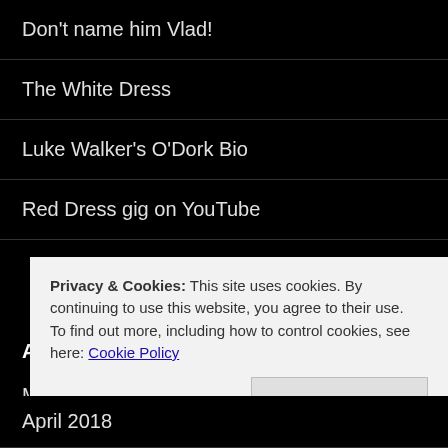Don't name him Vlad!
The White Dress
Luke Walker's O'Dork Bio
Red Dress gig on YouTube
ARCHIVES
March 2022
August 2021
April 2018
Privacy & Cookies: This site uses cookies. By continuing to use this website, you agree to their use.
To find out more, including how to control cookies, see here: Cookie Policy
Close and accept